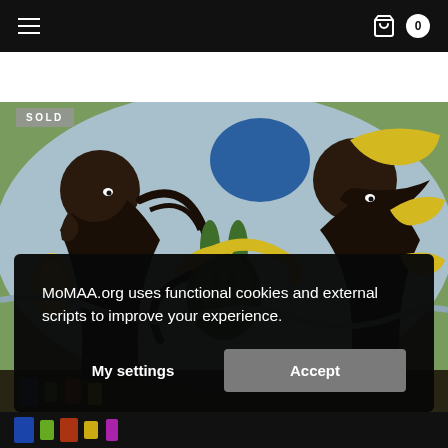Navigation bar with hamburger menu icon and shopping bag icon with cart count 0
[Figure (illustration): Colorful folk-art style painting depicting stylized human and animal figures in dark silhouette against a blue, green, yellow, and grey patterned background. Figures include what appears to be a rabbit/hare creature in green at center, dark human figures on left and right, and flowing organic shapes throughout.]
SOLD
MoMAA.org uses functional cookies and external scripts to improve your experience.
My settings
Accept